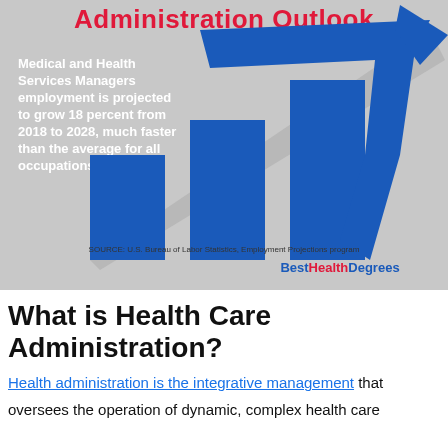[Figure (infographic): Health Care Administration Outlook infographic on gray background showing a bar chart with blue bars increasing in height and a large blue arrow pointing upward-right. Title in red: 'Administration Outlook'. White text: 'Medical and Health Services Managers employment is projected to grow 18 percent from 2018 to 2028, much faster than the average for all occupations.' Source: U.S. Bureau of Labor Statistics, Employment Projections program. BestHealthDegrees branding.]
What is Health Care Administration?
Health administration is the integrative management that oversees the operation of dynamic, complex health care